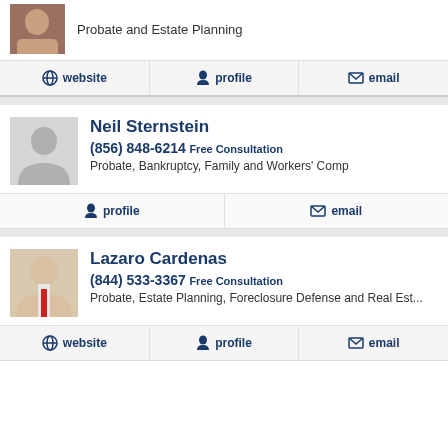Probate and Estate Planning
website | profile | email
Neil Sternstein
(856) 848-6214 Free Consultation
Probate, Bankruptcy, Family and Workers' Comp
profile | email
Lazaro Cardenas
(844) 533-3367 Free Consultation
Probate, Estate Planning, Foreclosure Defense and Real Est...
website | profile | email